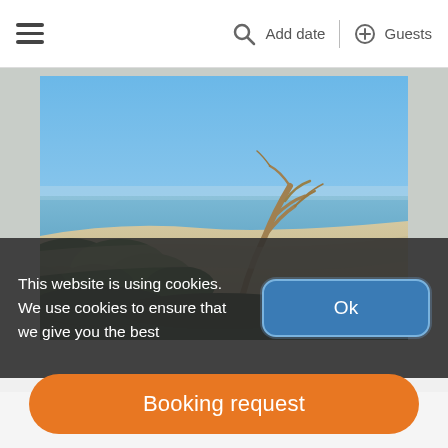≡  🔍 Add date | ⊕ Guests
[Figure (photo): Beach scene with blue sky, sea, sandy shore, green shrubs, and a bare leaning tree in the foreground]
This website is using cookies. We use cookies to ensure that we give you the best
Ok
Booking request